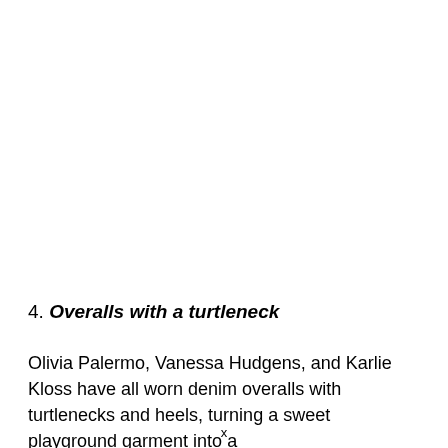4. Overalls with a turtleneck
Olivia Palermo, Vanessa Hudgens, and Karlie Kloss have all worn denim overalls with turtlenecks and heels, turning a sweet playground garment into a
x